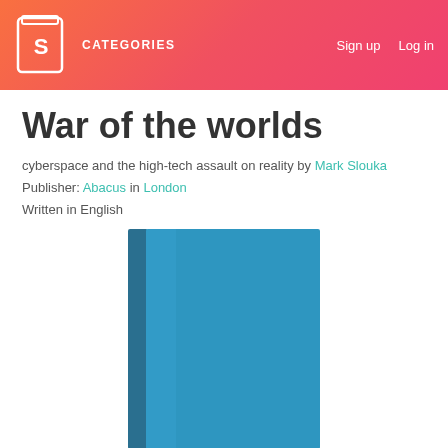CATEGORIES  Sign up  Log in
War of the worlds
cyberspace and the high-tech assault on reality by Mark Slouka
Publisher: Abacus in London
Written in English
[Figure (illustration): Blue book cover image shown from a slight angle, solid teal/blue color with a spine visible on the left side.]